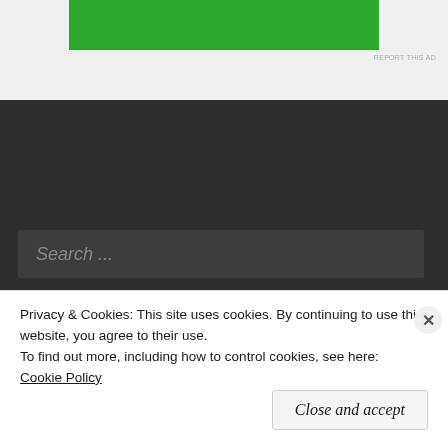[Figure (other): Green advertisement banner at top of page with grey background]
REPORT THIS AD
Search ...
Archives
February 2020
Privacy & Cookies: This site uses cookies. By continuing to use this website, you agree to their use.
To find out more, including how to control cookies, see here: Cookie Policy
Close and accept